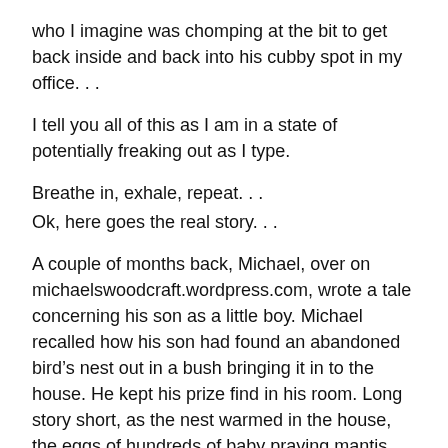who I imagine was chomping at the bit to get back inside and back into his cubby spot in my office. . .
I tell you all of this as I am in a state of potentially freaking out as I type.
Breathe in, exhale, repeat. . .
Ok, here goes the real story. . .
A couple of months back, Michael, over on michaelswoodcraft.wordpress.com, wrote a tale concerning his son as a little boy. Michael recalled how his son had found an abandoned bird’s nest out in a bush bringing it in to the house. He kept his prize find in his room. Long story short, as the nest warmed in the house, the eggs of hundreds of baby praying mantis sprung into action—all over his son’s room.
Michaell…ought there to…